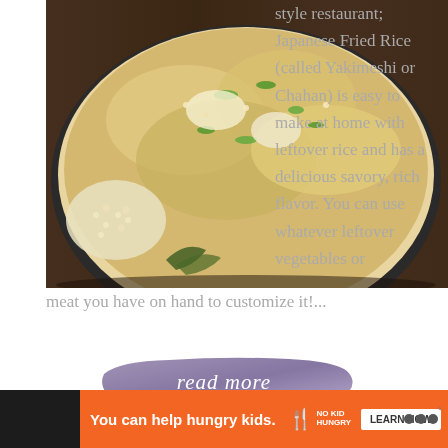[Figure (photo): A bowl of Japanese Fried Rice (Yakimeshi/Chahan) with egg, green onions, and sesame seeds on the side, viewed from above on a dark wooden surface]
style restaurant; Japanese Fried Rice (called Yakimeshi or Chahan) is easy to make at home with leftover rice and has a delicious savory, rich flavor. You can use whatever leftover vegetables or meat you have on hand to customize it!...
[Figure (illustration): A stylized 'read more' button with script/cursive text on a purple-grey brushstroke background]
You can help hungry kids. NO KID HUNGRY LEARN HOW